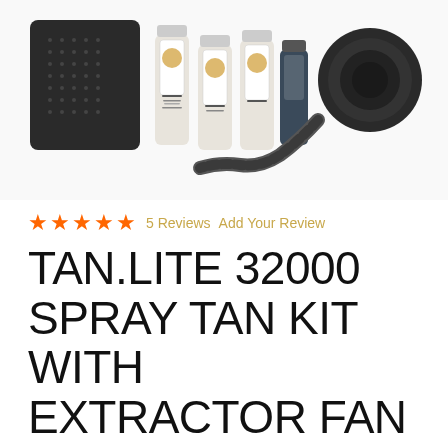[Figure (photo): Product photo of TAN.LITE 32000 Spray Tan Kit with Extractor Fan, showing a black machine unit, four product bottles with LA branded labels, and a hose/tube attachment on white background.]
★★★★★ 5 Reviews  Add Your Review
TAN.LITE 32000 SPRAY TAN KIT WITH EXTRACTOR FAN
£259.00 (Ex. VAT)  IN STOCK
Worth: £620.00